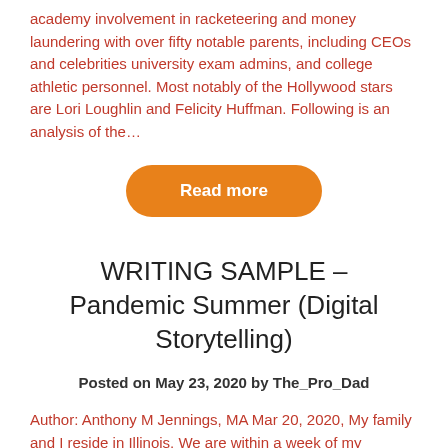academy involvement in racketeering and money laundering with over fifty notable parents, including CEOs and celebrities university exam admins, and college athletic personnel. Most notably of the Hollywood stars are Lori Loughlin and Felicity Huffman. Following is an analysis of the…
[Figure (other): Orange 'Read more' button with rounded pill shape]
WRITING SAMPLE – Pandemic Summer (Digital Storytelling)
Posted on May 23, 2020 by The_Pro_Dad
Author: Anthony M Jennings, MA Mar 20, 2020, My family and I reside in Illinois. We are within a week of my daughter's third birthday. The kids' schools are closed. My wife, although busier